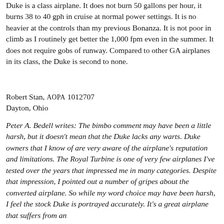Duke is a class airplane. It does not burn 50 gallons per hour, it burns 38 to 40 gph in cruise at normal power settings. It is no heavier at the controls than my previous Bonanza. It is not poor in climb as I routinely get better the 1,000 fpm even in the summer. It does not require gobs of runway. Compared to other GA airplanes in its class, the Duke is second to none.
Robert Stan, AOPA 1012707
Dayton, Ohio
Peter A. Bedell writes: The bimbo comment may have been a little harsh, but it doesn't mean that the Duke lacks any warts. Duke owners that I know of are very aware of the airplane's reputation and limitations. The Royal Turbine is one of very few airplanes I've tested over the years that impressed me in many categories. Despite that impression, I pointed out a number of gripes about the converted airplane. So while my word choice may have been harsh, I feel the stock Duke is portrayed accurately. It's a great airplane that suffers from an